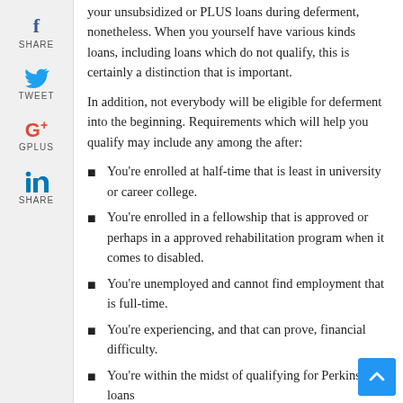your unsubsidized or PLUS loans during deferment, nonetheless. When you yourself have various kinds loans, including loans which do not qualify, this is certainly a distinction that is important.
In addition, not everybody will be eligible for deferment into the beginning. Requirements which will help you qualify may include any among the after:
You're enrolled at half-time that is least in university or career college.
You're enrolled in a fellowship that is approved or perhaps in a approved rehabilitation program when it comes to disabled.
You're unemployed and cannot find employment that is full-time.
You're experiencing, and that can prove, financial difficulty.
You're within the midst of qualifying for Perkins loans